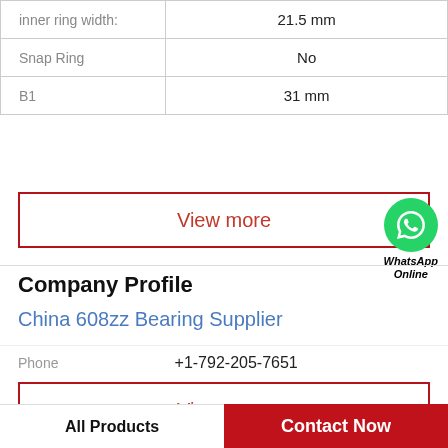| Property | Value |
| --- | --- |
| inner ring width: | 21.5 mm |
| Snap Ring | No |
| B1 | 31 mm |
View more
[Figure (logo): WhatsApp Online green circle icon with phone handset, label WhatsApp Online]
Company Profile
China 608zz Bearing Supplier
Phone   +1-792-205-7651
View more
All Products
Contact Now